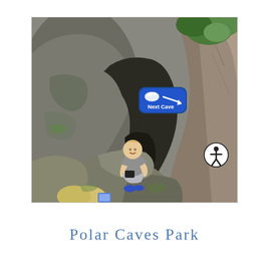[Figure (photo): Outdoor photo at Polar Caves Park showing large granite boulders and cave entrance. A smiling boy in a grey t-shirt sits on a rocky ledge. A blue sign reading 'Next Cave' with a polar bear icon and arrow is visible on the rocks. Green foliage is visible at the top. Another child and a person taking a photo are partially visible at the bottom left. An accessibility icon (person in circle) is overlaid at the right side.]
Polar Caves Park